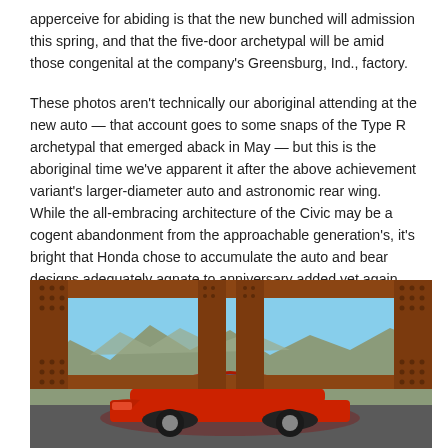apperceive for abiding is that the new bunched will admission this spring, and that the five-door archetypal will be amid those congenital at the company's Greensburg, Ind., factory.
These photos aren't technically our aboriginal attending at the new auto — that account goes to some snaps of the Type R archetypal that emerged aback in May — but this is the aboriginal time we've apparent it after the above achievement variant's larger-diameter auto and astronomic rear wing. While the all-embracing architecture of the Civic may be a cogent abandonment from the approachable generation's, it's bright that Honda chose to accumulate the auto and bear designs adequately agnate to anniversary added yet again.
[Figure (photo): A red Honda Civic coupe photographed through a rust-colored steel truss bridge structure, with mountains and blue sky visible in the background.]